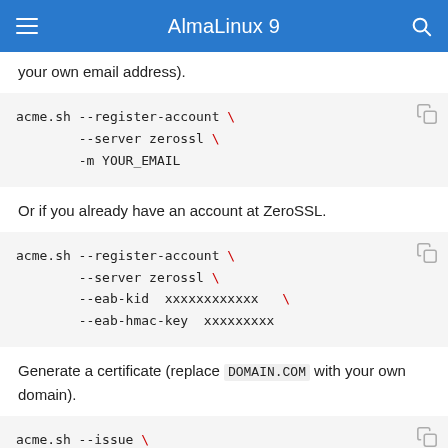AlmaLinux 9
your own email address).
acme.sh --register-account \
        --server zerossl \
        -m YOUR_EMAIL
Or if you already have an account at ZeroSSL.
acme.sh --register-account \
        --server zerossl \
        --eab-kid  xxxxxxxxxxxx   \
        --eab-hmac-key  xxxxxxxxx
Generate a certificate (replace DOMAIN.COM with your own domain).
acme.sh --issue \